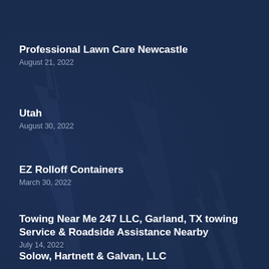Professional Lawn Care Newcastle
August 21, 2022
Utah
August 30, 2022
EZ Rolloff Containers
March 30, 2022
Towing Near Me 247 LLC, Garland, TX towing Service & Roadside Assistance Nearby
July 14, 2022
Solow, Hartnett & Galvan, LLC